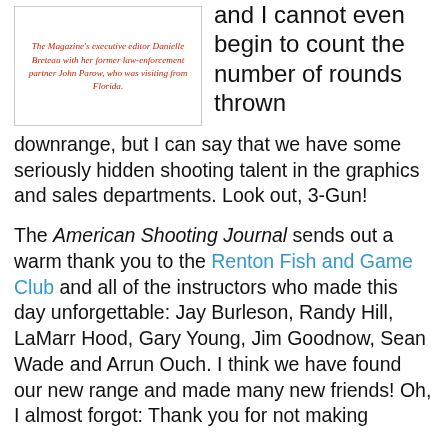The Magazine's executive editor Danielle Breteau with her former law-enforcement partner John Parow, who was visiting from Florida.
and I cannot even begin to count the number of rounds thrown downrange, but I can say that we have some seriously hidden shooting talent in the graphics and sales departments. Look out, 3-Gun!
The American Shooting Journal sends out a warm thank you to the Renton Fish and Game Club and all of the instructors who made this day unforgettable: Jay Burleson, Randy Hill, LaMarr Hood, Gary Young, Jim Goodnow, Sean Wade and Arrun Ouch. I think we have found our new range and made many new friends! Oh, I almost forgot: Thank you for not making